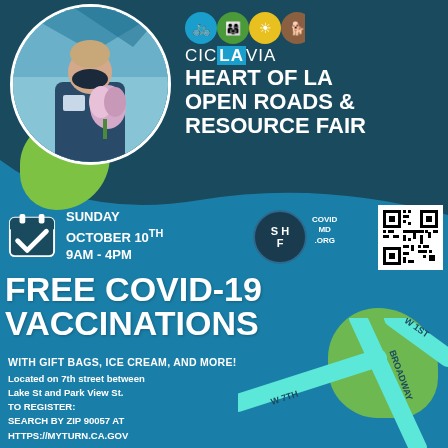[Figure (infographic): CicLAvia Heart of LA Open Roads & Resource Fair event flyer with photo of masked person holding flowers, activity icons, date/time, free COVID-19 vaccinations info, QR code, and street map]
CicLAvia HEART OF LA OPEN ROADS & RESOURCE FAIR
SUNDAY OCTOBER 10TH 9AM - 4PM
FREE COVID-19 VACCINATIONS
WITH GIFT BAGS, ICE CREAM, AND MORE!
Located on 7th street between Lake St and Park View St.
TO REGISTER: SEARCH BY ZIP 90057 AT HTTPS://MYTURN.CA.GOV